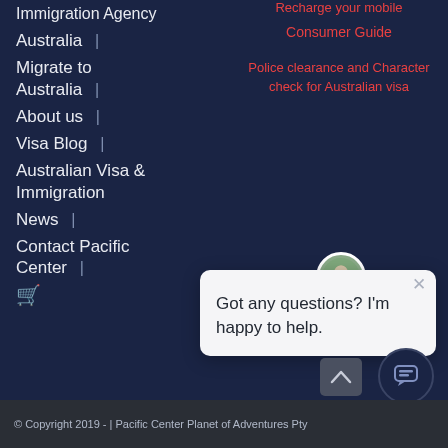Immigration Agency
Australia  |
Migrate to Australia  |
About us  |
Visa Blog  |
Australian Visa & Immigration
News  |
Contact Pacific Center  |
[cart icon]
Recharge your mobile
Consumer Guide
Police clearance and Character check for Australian visa
[Figure (screenshot): Chat popup with avatar showing 'Got any questions? I'm happy to help.']
© Copyright 2019 -  |  Pacific Center Planet of Adventures Pty